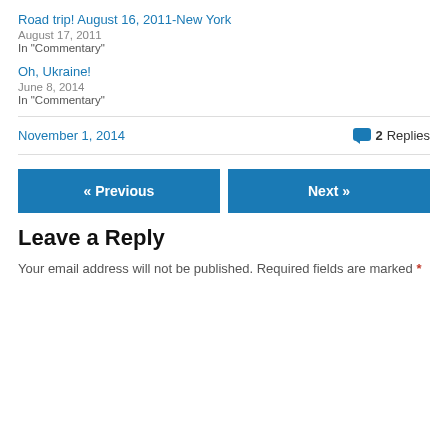Road trip! August 16, 2011-New York
August 17, 2011
In "Commentary"
Oh, Ukraine!
June 8, 2014
In "Commentary"
November 1, 2014
2 Replies
« Previous
Next »
Leave a Reply
Your email address will not be published. Required fields are marked *